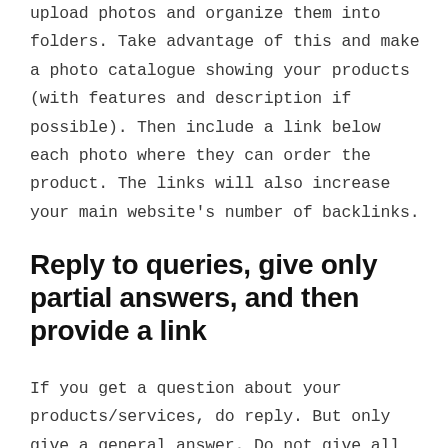upload photos and organize them into folders. Take advantage of this and make a photo catalogue showing your products (with features and description if possible). Then include a link below each photo where they can order the product. The links will also increase your main website's number of backlinks.
Reply to queries, give only partial answers, and then provide a link
If you get a question about your products/services, do reply. But only give a general answer. Do not give all the details. Then provide a link to your main